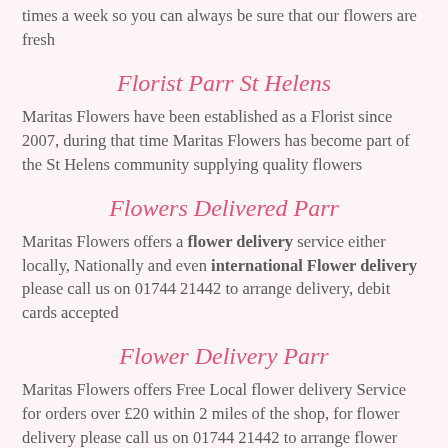times a week so you can always be sure that our flowers are fresh
Florist Parr St Helens
Maritas Flowers have been established as a Florist since 2007, during that time Maritas Flowers has become part of the St Helens community supplying quality flowers
Flowers Delivered Parr
Maritas Flowers offers a flower delivery service either locally, Nationally and even international Flower delivery please call us on 01744 21442 to arrange delivery, debit cards accepted
Flower Delivery Parr
Maritas Flowers offers Free Local flower delivery Service for orders over £20 within 2 miles of the shop, for flower delivery please call us on 01744 21442 to arrange flower